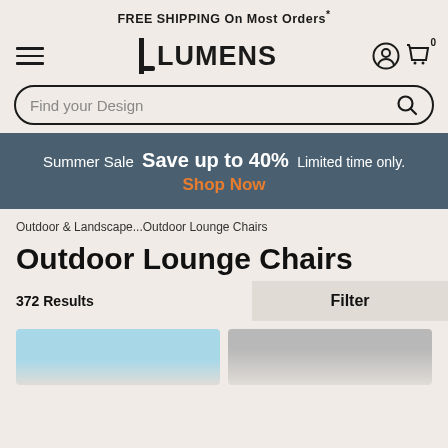FREE SHIPPING On Most Orders*
[Figure (logo): Lumens logo with hamburger menu, user icon, and cart with 0 items]
Find your Design
Summer Sale  Save up to 40%  Limited time only.  Shop Now
Outdoor & Landscape...Outdoor Lounge Chairs
Outdoor Lounge Chairs
372 Results
Filter